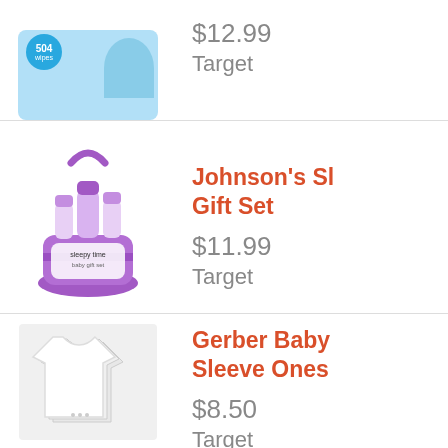[Figure (photo): Pampers diapers box with '504 wipes' label, partially visible at top]
$12.99
Target
[Figure (photo): Johnson's Sleepy Time baby gift set in purple basket with bottles]
Johnson's Sl Gift Set
$11.99
Target
[Figure (photo): Gerber Baby white short sleeve onesies, multiple pack]
Gerber Baby Sleeve Ones
$8.50
Target